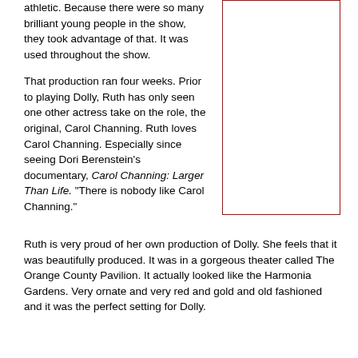athletic. Because there were so many brilliant young people in the show, they took advantage of that. It was used throughout the show.
[Figure (photo): A rectangular image placeholder with a dark red border, no visible content (blank/white interior).]
That production ran four weeks. Prior to playing Dolly, Ruth has only seen one other actress take on the role, the original, Carol Channing. Ruth loves Carol Channing. Especially since seeing Dori Berenstein’s documentary, Carol Channing: Larger Than Life. “There is nobody like Carol Channing.”
Ruth is very proud of her own production of Dolly. She feels that it was beautifully produced. It was in a gorgeous theater called The Orange County Pavilion. It actually looked like the Harmonia Gardens. Very ornate and very red and gold and old fashioned and it was the perfect setting for Dolly.